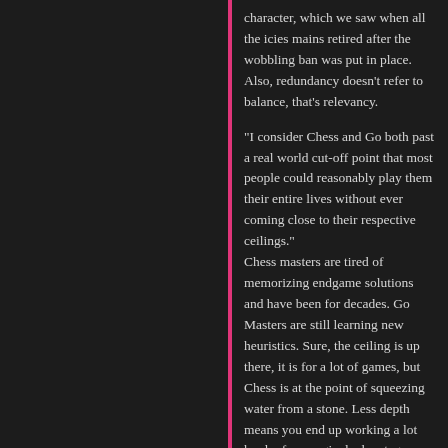character, which we saw when all the icies mains retired after the wobbling ban was put in place. Also, redundancy doesn't refer to balance, that's relevancy.
“I consider Chess and Go both past a real world cut-off point that most people could reasonably play them their entire lives without ever coming close to their respective ceilings.” Chess masters are tired of memorizing endgame solutions and have been for decades. Go Masters are still learning new heuristics. Sure, the ceiling is up there, it is for a lot of games, but Chess is at the point of squeezing water from a stone. Less depth means you end up working a lot harder for marginal advantages.
★ Like